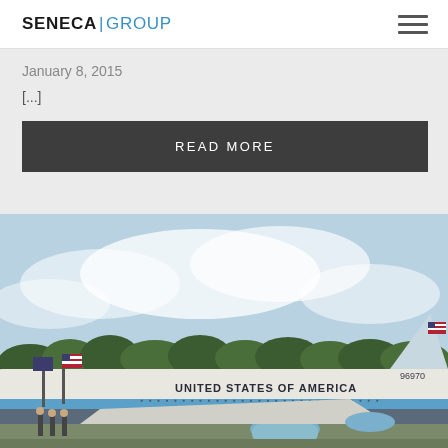SENECA | GROUP
January 8, 2015
[...]
READ MORE
[Figure (photo): Air Force One aircraft on tarmac with 'UNITED STATES OF AMERICA' lettering on fuselage, flags visible on left, trees in background, blue sky with clouds]